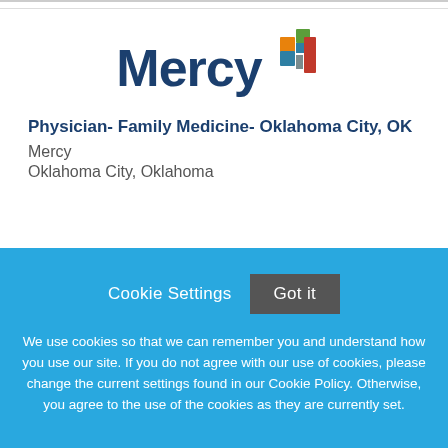[Figure (logo): Mercy health system logo with colorful cross icon and dark blue 'Mercy' text]
Physician- Family Medicine- Oklahoma City, OK
Mercy
Oklahoma City, Oklahoma
Cookie Settings  Got it
We use cookies so that we can remember you and understand how you use our site. If you do not agree with our use of cookies, please change the current settings found in our Cookie Policy. Otherwise, you agree to the use of the cookies as they are currently set.